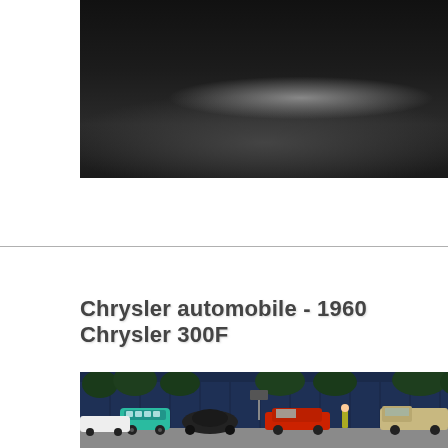[Figure (photo): Close-up dark photograph of a car body, black with a subtle silver/grey highlight streak across the surface]
Chrysler automobile - 1960 Chrysler 300F
[Figure (photo): Outdoor car show photograph showing a row of classic cars including a teal VW Bus, black cars, a red classic car, and an old truck, parked in front of a dark blue building with trees in the background]